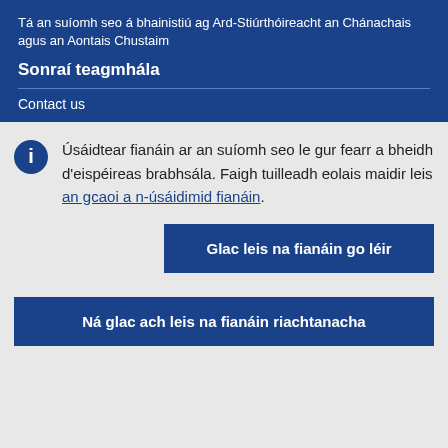Tá an suíomh seo á bhainistiú ag Ard-Stiúrthóireacht an Chánachais agus an Aontais Chustaim
Sonraí teagmhála
Contact us
Úsáidtear fianáin ar an suíomh seo le gur fearr a bheidh d'eispéireas brabhsála. Faigh tuilleadh eolais maidir leis an gcaoi a n-úsáidimid fianáin.
Glac leis na fianáin go léir
Ná glac ach leis na fianáin riachtanacha